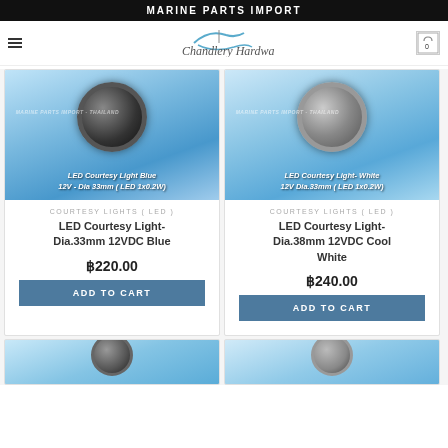MARINE PARTS IMPORT
[Figure (logo): Chandlery Hardware logo with a stylized wave/boat icon and italic serif text]
[Figure (photo): LED Courtesy Light Blue - 12V Dia 33mm (LED 1x0.2W) underwater splash product photo]
COURTESY LIGHTS ( LED )
LED Courtesy Light- Dia.33mm 12VDC Blue
฿220.00
ADD TO CART
[Figure (photo): LED Courtesy Light White - 12V Dia.33mm (LED 1x0.2W) underwater splash product photo]
COURTESY LIGHTS ( LED )
LED Courtesy Light- Dia.38mm 12VDC Cool White
฿240.00
ADD TO CART
[Figure (photo): Partial view of a third product card at bottom left]
[Figure (photo): Partial view of a fourth product card at bottom right]